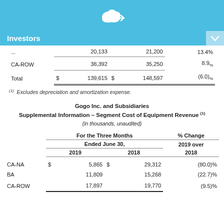[Figure (logo): Gogo cloud logo with arrow, white on light blue background]
Investors
|  | 2019 | 2018 | % Change 2019 over 2018 |
| --- | --- | --- | --- |
| ... | 20,133 | 21,200 | 13.4% |
| CA-ROW | 38,392 | 35,250 | 8.9% |
| Total | $ 139,615 | $ 148,597 | (6.0)% |
(1)  Excludes depreciation and amortization expense.
Gogo Inc. and Subsidiaries
Supplemental Information – Segment Cost of Equipment Revenue (1)
(in thousands, unaudited)
|  | For the Three Months Ended June 30, 2019 | For the Three Months Ended June 30, 2018 | % Change 2019 over 2018 |
| --- | --- | --- | --- |
| CA-NA | $ 5,865 | $ 29,312 | (80.0)% |
| BA | 11,809 | 15,268 | (22.7)% |
| CA-ROW | 17,897 | 19,770 | (9.5)% |